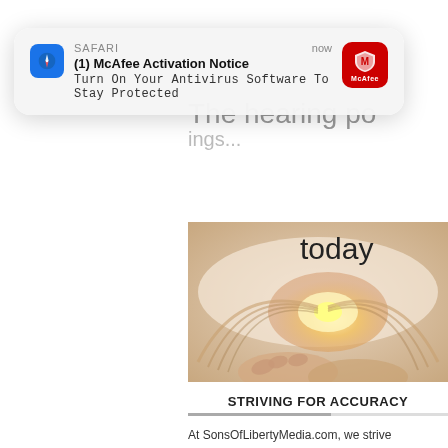[Figure (screenshot): Partial view of SonsOfLibertyMedia.com website showing a glowing book image with the word 'today' overlaid, a 'STRIVING FOR ACCURACY' section header, and the beginning of body text 'At SonsOfLibertyMedia.com, we strive']
[Figure (screenshot): iOS/macOS Safari push notification overlay showing: App name 'SAFARI', time 'now', title '(1) McAfee Activation Notice', subtitle 'Turn On Your Antivirus Software To Stay Protected', and McAfee red shield logo icon on the right.]